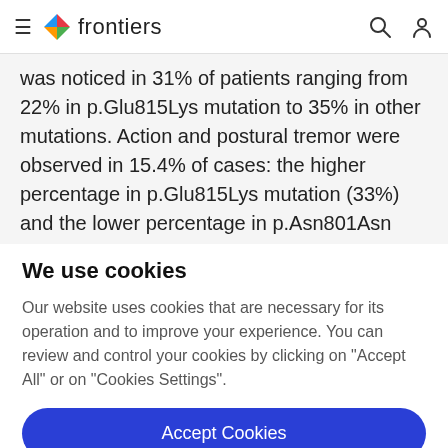frontiers
was noticed in 31% of patients ranging from 22% in p.Glu815Lys mutation to 35% in other mutations. Action and postural tremor were observed in 15.4% of cases: the higher percentage in p.Glu815Lys mutation (33%) and the lower percentage in p.Asn801Asn (10%). Chorea has been
We use cookies
Our website uses cookies that are necessary for its operation and to improve your experience. You can review and control your cookies by clicking on "Accept All" or on "Cookies Settings".
Accept Cookies
Cookies Settings